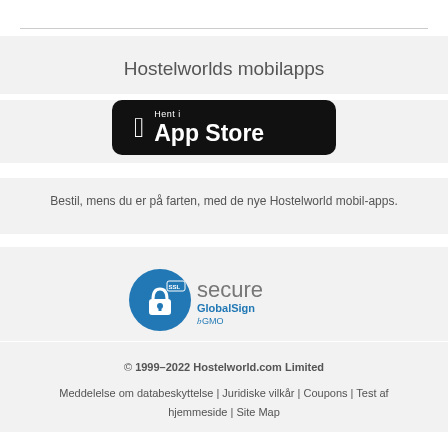Hostelworlds mobilapps
[Figure (logo): App Store download button — black rounded rectangle with Apple logo and text 'Hent i App Store']
Bestil, mens du er på farten, med de nye Hostelworld mobil-apps.
[Figure (logo): SSL Secure GlobalSign by GMO badge — blue padlock circle with SSL label, and 'secure GlobalSign by GMO' text]
© 1999–2022 Hostelworld.com Limited
Meddelelse om databeskyttelse | Juridiske vilkår | Coupons | Test af hjemmeside | Site Map